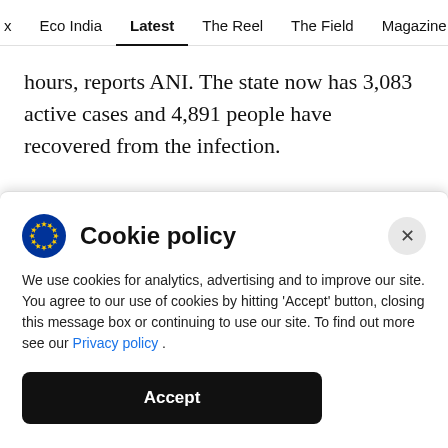x  Eco India  Latest  The Reel  The Field  Magazine  Video
hours, reports ANI. The state now has 3,083 active cases and 4,891 people have recovered from the infection.
3.33 pm: Arunachal Pradesh Chief Minister Pema Khandu says the state has recorded few positive coronavirus cases among those who returned from outside. “This was possible as we were able to take
Cookie policy
We use cookies for analytics, advertising and to improve our site. You agree to our use of cookies by hitting ‘Accept’ button, closing this message box or continuing to use our site. To find out more see our Privacy policy .
Accept